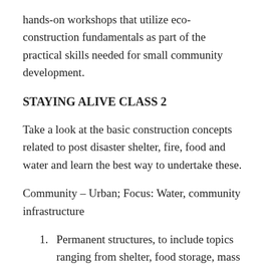hands-on workshops that utilize eco-construction fundamentals as part of the practical skills needed for small community development.
STAYING ALIVE CLASS 2
Take a look at the basic construction concepts related to post disaster shelter, fire, food and water and learn the best way to undertake these.
Community – Urban; Focus: Water, community infrastructure
Permanent structures, to include topics ranging from shelter, food storage, mass heaters to water heating.
Water / waste-water management systems